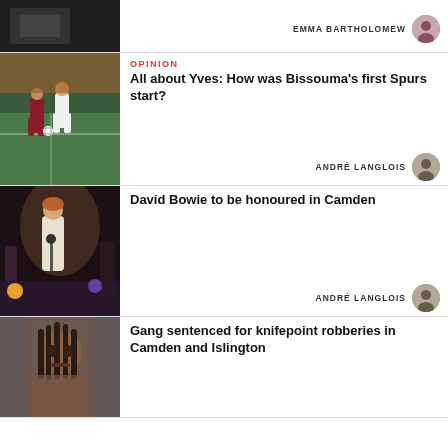[Figure (photo): Partial top card showing a dark image, byline EMMA BARTHOLOMEW with avatar]
EMMA BARTHOLOMEW
[Figure (photo): Football/soccer match image showing players on field]
OPINION
All about Yves: How was Bissouma's first Spurs start?
ANDRÉ LANGLOIS
[Figure (photo): David Bowie performing on stage with microphone]
David Bowie to be honoured in Camden
ANDRÉ LANGLOIS
[Figure (photo): Young man with dreadlocks, portrait photo]
Gang sentenced for knifepoint robberies in Camden and Islington